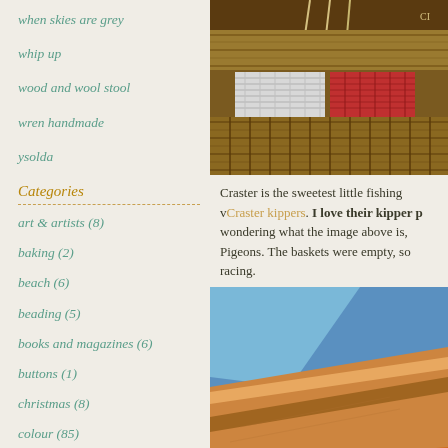when skies are grey
whip up
wood and wool stool
wren handmade
ysolda
Categories
art & artists (8)
baking (2)
beach (6)
beading (5)
books and magazines (6)
buttons (1)
christmas (8)
colour (85)
[Figure (photo): Woven basket or loom with red and white/silver woven strips, showing textile crafts]
Craster is the sweetest little fishing v... Craster kippers. I love their kipper p... wondering what the image above is, Pigeons. The baskets were empty, so racing.
[Figure (photo): Abstract close-up of boat hull showing blue, orange, and brown painted surfaces at angles]